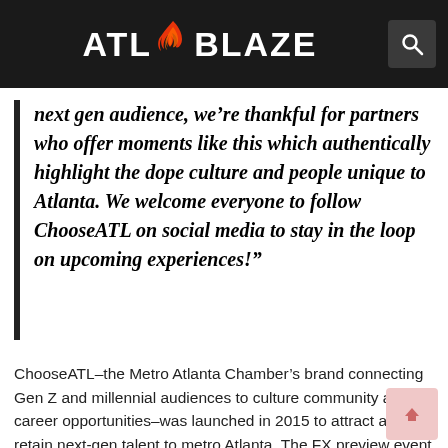ATL BLAZE
next gen audience, we’re thankful for partners who offer moments like this which authentically highlight the dope culture and people unique to Atlanta. We welcome everyone to follow ChooseATL on social media to stay in the loop on upcoming experiences!”
ChooseATL–the Metro Atlanta Chamber’s brand connecting Gen Z and millennial audiences to culture community and career opportunities–was launched in 2015 to attract and retain next-gen talent to metro Atlanta. The FX preview event was a testament to the brand mission, proving Atlanta has and always will be the leaders of the culture.